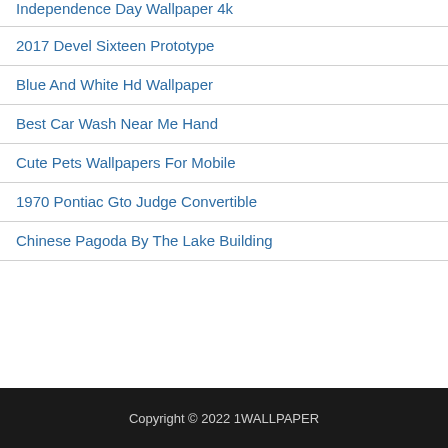Independence Day Wallpaper 4k
2017 Devel Sixteen Prototype
Blue And White Hd Wallpaper
Best Car Wash Near Me Hand
Cute Pets Wallpapers For Mobile
1970 Pontiac Gto Judge Convertible
Chinese Pagoda By The Lake Building
Copyright © 2022 1WALLPAPER